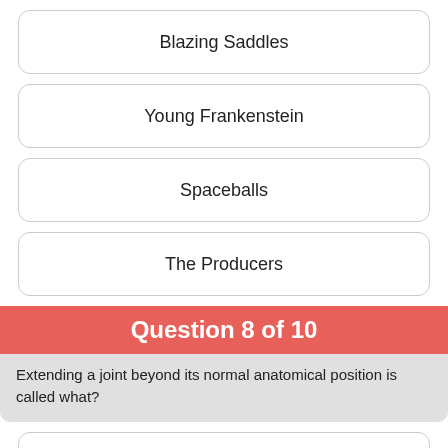Blazing Saddles
Young Frankenstein
Spaceballs
The Producers
Question 8 of 10
Extending a joint beyond its normal anatomical position is called what?
Hyperextension